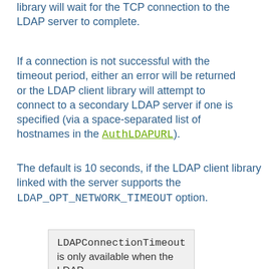library will wait for the TCP connection to the LDAP server to complete.
If a connection is not successful with the timeout period, either an error will be returned or the LDAP client library will attempt to connect to a secondary LDAP server if one is specified (via a space-separated list of hostnames in the AuthLDAPURL).
The default is 10 seconds, if the LDAP client library linked with the server supports the LDAP_OPT_NETWORK_TIMEOUT option.
LDAPConnectionTimeout is only available when the LDAP